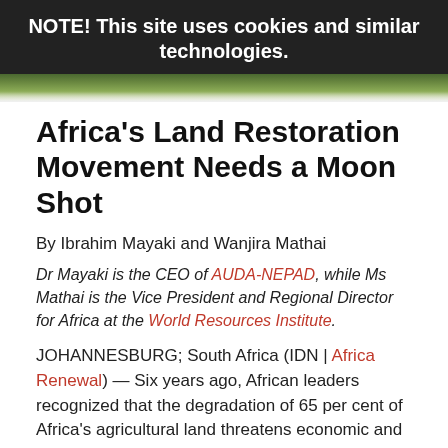NOTE! This site uses cookies and similar technologies.
[Figure (photo): Partial view of green foliage/trees strip at top of article page]
Africa's Land Restoration Movement Needs a Moon Shot
By Ibrahim Mayaki and Wanjira Mathai
Dr Mayaki is the CEO of AUDA-NEPAD, while Ms Mathai is the Vice President and Regional Director for Africa at the World Resources Institute.
JOHANNESBURG; South Africa (IDN | Africa Renewal) — Six years ago, African leaders recognized that the degradation of 65 per cent of Africa's agricultural land threatens economic and environmental ruin for millions of farmers.
IDN-INPS EDITOR   GOAL 13+14+15   10 DECEMBER 2021